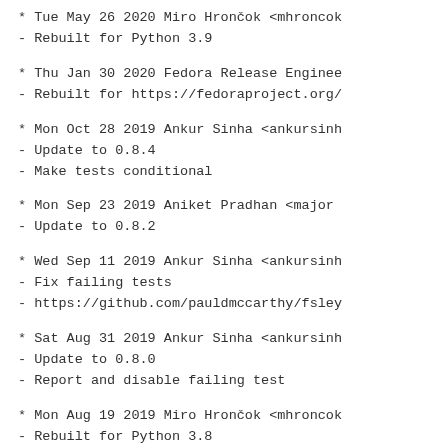* Tue May 26 2020 Miro Hrončok <mhroncok
- Rebuilt for Python 3.9
* Thu Jan 30 2020 Fedora Release Enginee
- Rebuilt for https://fedoraproject.org/
* Mon Oct 28 2019 Ankur Sinha <ankursinh
- Update to 0.8.4
- Make tests conditional
* Mon Sep 23 2019 Aniket Pradhan <major
- Update to 0.8.2
* Wed Sep 11 2019 Ankur Sinha <ankursinh
- Fix failing tests
- https://github.com/pauldmccarthy/fsley
* Sat Aug 31 2019 Ankur Sinha <ankursinh
- Update to 0.8.0
- Report and disable failing test
* Mon Aug 19 2019 Miro Hrončok <mhroncok
- Rebuilt for Python 3.8